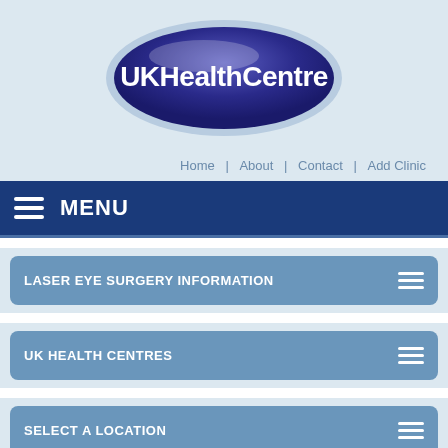[Figure (logo): UKHealthCentre oval logo with blue gradient background and white text]
Home | About | Contact | Add Clinic
MENU
LASER EYE SURGERY INFORMATION
UK HEALTH CENTRES
SELECT A LOCATION
Laser Eye Surgery Clinics in Taunton
If you would like to know how laser eye surgery can